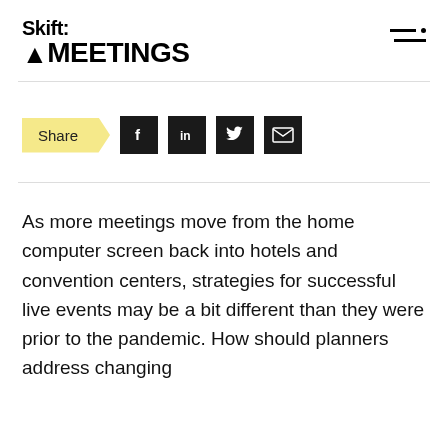Skift MEETINGS
[Figure (logo): Skift Meetings logo with hamburger menu icon]
Share
As more meetings move from the home computer screen back into hotels and convention centers, strategies for successful live events may be a bit different than they were prior to the pandemic. How should planners address changing